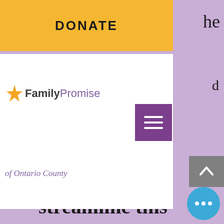DONATE
[Figure (logo): FamilyPromise of Ontario County logo with orange star icon]
of Ontario County
streamline this process, I've directed OTDA to work with their vendor to disburse payments as quickly and efficiently as possible we can deliver billions of dollars in rental assistance to New Yorkers who have been struggling to pay rent due to